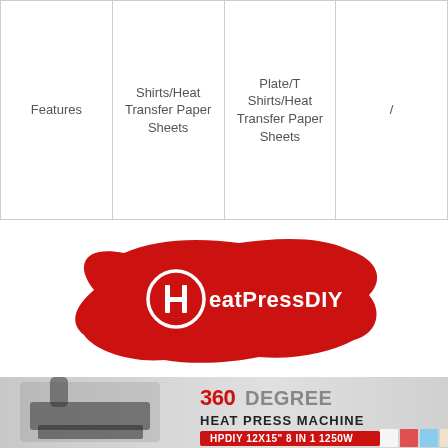| Features | Shirts/Heat Transfer Paper Sheets | Plate/T Shirts/Heat Transfer Paper Sheets | / |
| --- | --- | --- | --- |
[Figure (logo): HeatPressDIY logo: white H icon and 'HeatPressDIY' text on a red paint-splash background]
[Figure (photo): 360 Degree Heat Press Machine product image. Large heat press machine on left. Text on right: '360 DEGREE HEAT PRESS MACHINE' and red badge 'HPDIY 12X15" 8 IN 1 1250W'. Small product thumbnails at bottom right.]